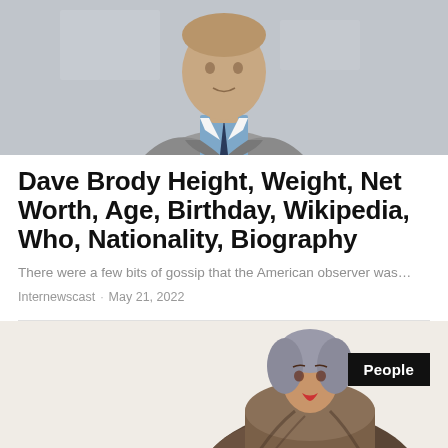[Figure (photo): Photo of Dave Brody, a man in a grey suit with a blue shirt and dark tie, cropped at chest level, office background]
Dave Brody Height, Weight, Net Worth, Age, Birthday, Wikipedia, Who, Nationality, Biography
There were a few bits of gossip that the American observer was…
Internewscast · May 21, 2022
[Figure (photo): Photo of a woman in a fur coat with grey hair, partial view, associated with a 'People' category badge]